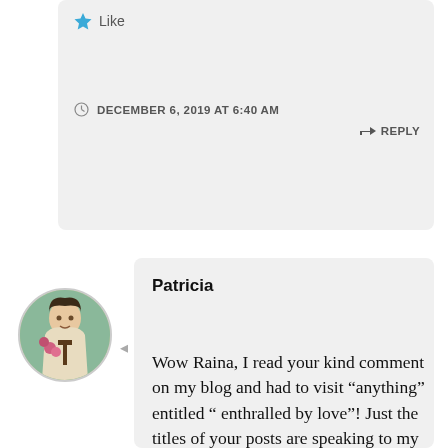[Figure (other): Star/like icon with 'Like' text]
DECEMBER 6, 2019 AT 6:40 AM
REPLY
[Figure (photo): Circular avatar image of a woman (Saint Therese style painting) holding a cross with flowers]
Patricia
Wow Raina, I read your kind comment on my blog and had to visit “anything” entitled “ enthralled by love”! Just the titles of your posts are speaking to my heart. It is very late and I am off to bed, but will be